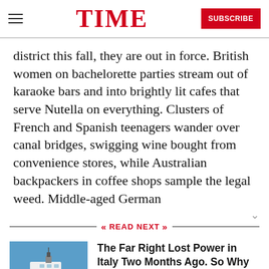TIME | SUBSCRIBE
district this fall, they are out in force. British women on bachelorette parties stream out of karaoke bars and into brightly lit cafes that serve Nutella on everything. Clusters of French and Spanish teenagers wander over canal bridges, swigging wine bought from convenience stores, while Australian backpackers in coffee shops sample the legal weed. Middle-aged German
READ NEXT
[Figure (photo): A red and white rescue/coast guard ship on blue water, viewed from a distance]
The Far Right Lost Power in Italy Two Months Ago. So Why Are Migrant Rescue Boats Still Being Refused Entry?